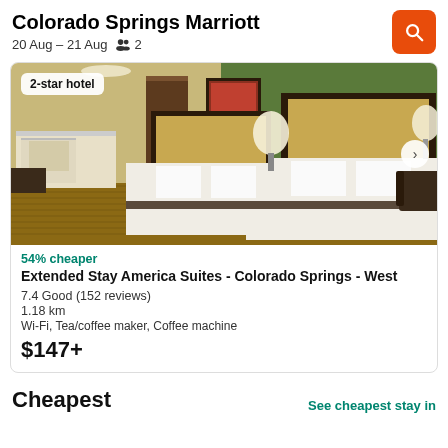Colorado Springs Marriott
20 Aug – 21 Aug   👥 2
[Figure (photo): Hotel room with two queen beds, green accent wall, beige headboards, desk area with kitchen counter on left, armchair on right]
54% cheaper
Extended Stay America Suites - Colorado Springs - West
7.4 Good (152 reviews)
1.18 km
Wi-Fi, Tea/coffee maker, Coffee machine
$147+
Cheapest
See cheapest stay in